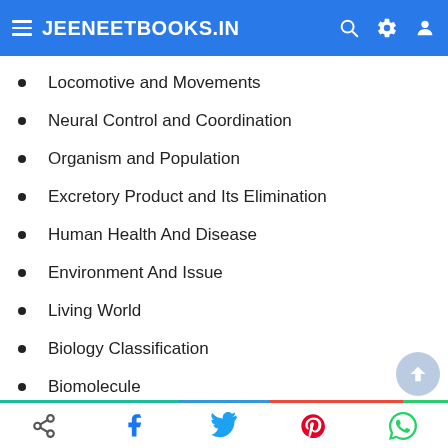JEENEETBOOKS.IN
Locomotive and Movements
Neural Control and Coordination
Organism and Population
Excretory Product and Its Elimination
Human Health And Disease
Environment And Issue
Living World
Biology Classification
Biomolecule
Respiration in Plant
Share | Facebook | Twitter | Pinterest | WhatsApp